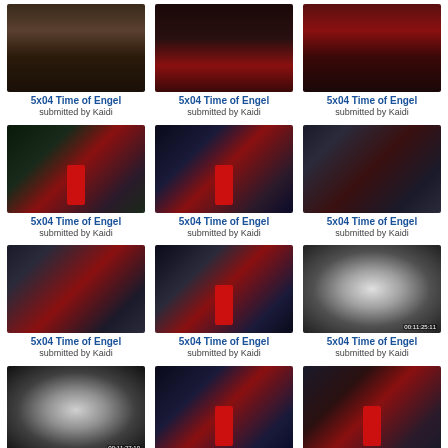[Figure (photo): Grid of TV show screenshots, 3 columns, 5 rows (last row partial). All labeled '5x04 Time of Engel, submitted by Kaidi'. Shows scenes from a TV episode with a girl in red and weeping angel statues.]
5x04 Time of Engel
submitted by Kaidi
5x04 Time of Engel
submitted by Kaidi
5x04 Time of Engel
submitted by Kaidi
5x04 Time of Engel
submitted by Kaidi
5x04 Time of Engel
submitted by Kaidi
5x04 Time of Engel
submitted by Kaidi
5x04 Time of Engel
submitted by Kaidi
5x04 Time of Engel
submitted by Kaidi
5x04 Time of Engel
submitted by Kaidi
5x04 Time of Engel
submitted by Kaidi
5x04 Time of Engel
submitted by Kaidi
5x04 Time of Engel
submitted by Kaidi